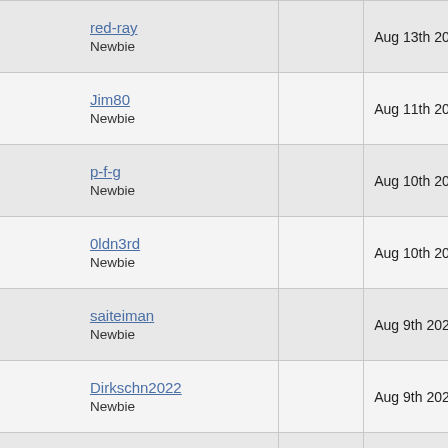| User |  | Date |
| --- | --- | --- |
| red-ray
Newbie |  | Aug 13th 2022 |
| Jim80
Newbie |  | Aug 11th 2022 |
| p-f-g
Newbie |  | Aug 10th 2022 |
| 0ldn3rd
Newbie |  | Aug 10th 2022 |
| saiteiman
Newbie |  | Aug 9th 2022 |
| Dirkschn2022
Newbie |  | Aug 9th 2022 |
| zerber
Newbie |  | Aug 8th 2022 |
| Stulle81
Newbie |  | Aug 7th 2022 |